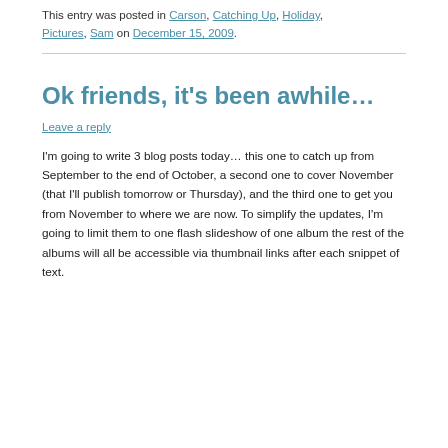This entry was posted in Carson, Catching Up, Holiday, Pictures, Sam on December 15, 2009.
Ok friends, it's been awhile…
Leave a reply
I'm going to write 3 blog posts today… this one to catch up from September to the end of October, a second one to cover November (that I'll publish tomorrow or Thursday), and the third one to get you from November to where we are now. To simplify the updates, I'm going to limit them to one flash slideshow of one album the rest of the albums will all be accessible via thumbnail links after each snippet of text.